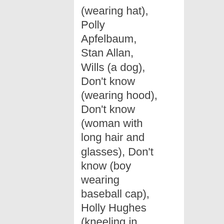(wearing hat), Polly Apfelbaum, Stan Allan, Wills (a dog), Don't know (wearing hood), Don't know (woman with long hair and glasses), Don't know (boy wearing baseball cap), Holly Hughes (kneeling in from of Bruce, his hand on her shoulder), Don't know (young girl with